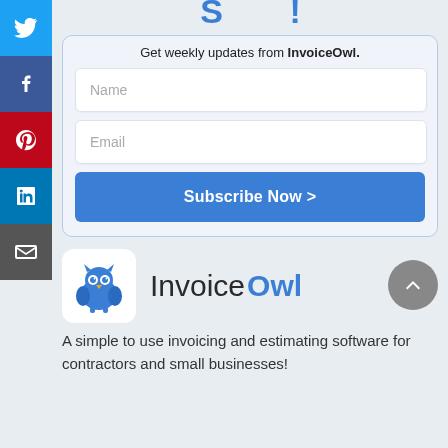Subscribe (partial)
Get weekly updates from InvoiceOwl.
[Figure (screenshot): Name input field placeholder]
[Figure (screenshot): Email input field placeholder]
[Figure (screenshot): Subscribe Now > button]
[Figure (logo): InvoiceOwl owl logo icon in white rounded square box, with text Invoice Owl beside it]
A simple to use invoicing and estimating software for contractors and small businesses!